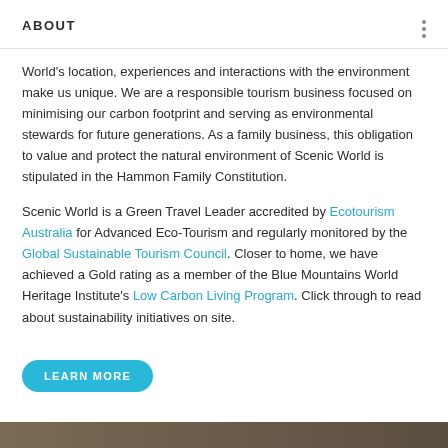ABOUT
World's location, experiences and interactions with the environment make us unique. We are a responsible tourism business focused on minimising our carbon footprint and serving as environmental stewards for future generations. As a family business, this obligation to value and protect the natural environment of Scenic World is stipulated in the Hammon Family Constitution.
Scenic World is a Green Travel Leader accredited by Ecotourism Australia for Advanced Eco-Tourism and regularly monitored by the Global Sustainable Tourism Council. Closer to home, we have achieved a Gold rating as a member of the Blue Mountains World Heritage Institute's Low Carbon Living Program. Click through to read about sustainability initiatives on site.
LEARN MORE